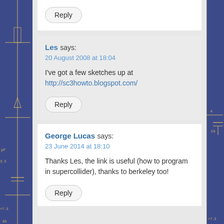Reply
Les says:
20 August 2008 at 18:04
I've got a few sketches up at http://sc3howto.blogspot.com/
Reply
George Lucas says:
23 June 2014 at 18:10
Thanks Les, the link is useful (how to program in supercollider), thanks to berkeley too!
Reply